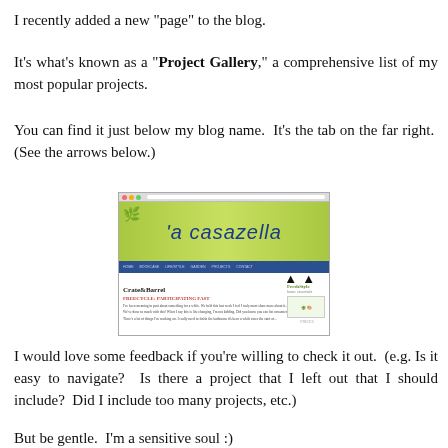I recently added a new "page" to the blog.
It's what's known as a "Project Gallery," a comprehensive list of my most popular projects.
You can find it just below my blog name.  It's the tab on the far right.  (See the arrows below.)
[Figure (screenshot): Screenshot of the blog 'a casazella' showing the blog header with navigation tabs and two black arrows pointing to the far right tab (Project Gallery). The blog has a green gradient background in the header area, and shows partial blog content below.]
I would love some feedback if you're willing to check it out.  (e.g. Is it easy to navigate?  Is there a project that I left out that I should include?  Did I include too many projects, etc.)
But be gentle.  I'm a sensitive soul :)